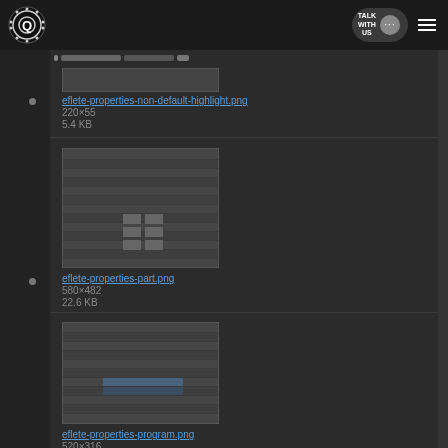[Figure (screenshot): Website navigation bar with circular logo on left, 'TALK WITH US' button with chat bubble icon, and hamburger menu on right, dark background]
[Figure (screenshot): Top indicator bar with small colored rectangles]
eflete-properties-non-default-highlight.png
220×55
5.4 KB
[Figure (screenshot): Thumbnail of eflete-properties-part.png showing a dark-themed properties panel UI]
eflete-properties-part.png
580×482
22.6 KB
[Figure (screenshot): Thumbnail of eflete-properties-program.png showing a dark-themed properties panel UI]
eflete-properties-program.png
520×316
10.8 KB